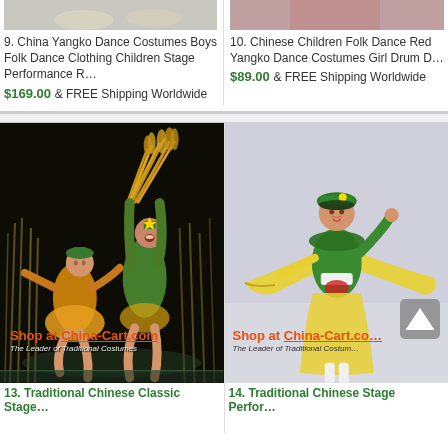[Figure (photo): Partial top image of item 9 - China Yangko Dance Costumes, cropped view showing bottom of costume]
[Figure (photo): Partial top image of item 10 - Chinese Children Folk Dance Red Yangko costume, cropped view]
9. China Yangko Dance Costumes Boys Folk Dance Clothing Children Stage Performance R…
$169.00 & FREE Shipping Worldwide
10. Chinese Children Folk Dance Red Yangko Dance Costumes Girl Drum D…
$89.00 & FREE Shipping Worldwide
[Figure (photo): Item 13 - Traditional Chinese Classic Stage dance costume showing two performers in yellow/green harvest-themed costumes on a dark stage, holding wheat sheaves, with Shop at China-Cart.com watermark]
[Figure (photo): Item 14 - Traditional Chinese Stage Performance costume showing a young girl in green and yellow costume with wide sleeves, green hat, with Shop at China-Cart.com watermark and scroll-to-top button overlay]
13. Traditional Chinese Classic Stage…
14. Traditional Chinese Stage Perfor…